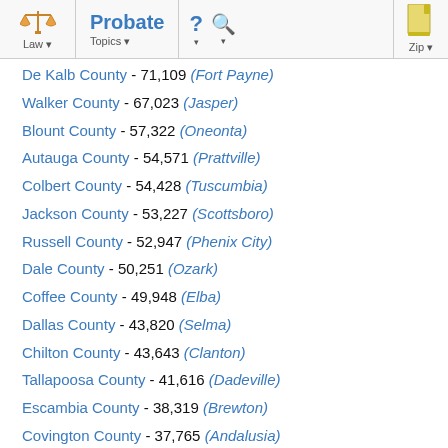Probate | Law | Topics | Zip
De Kalb County - 71,109 (Fort Payne)
Walker County - 67,023 (Jasper)
Blount County - 57,322 (Oneonta)
Autauga County - 54,571 (Prattville)
Colbert County - 54,428 (Tuscumbia)
Jackson County - 53,227 (Scottsboro)
Russell County - 52,947 (Phenix City)
Dale County - 50,251 (Ozark)
Coffee County - 49,948 (Elba)
Dallas County - 43,820 (Selma)
Chilton County - 43,643 (Clanton)
Tallapoosa County - 41,616 (Dadeville)
Escambia County - 38,319 (Brewton)
Covington County - 37,765 (Andalusia)
Lawrence County - 34,339 (Moulton)
Chambers County - 34,215 (LaFayette)